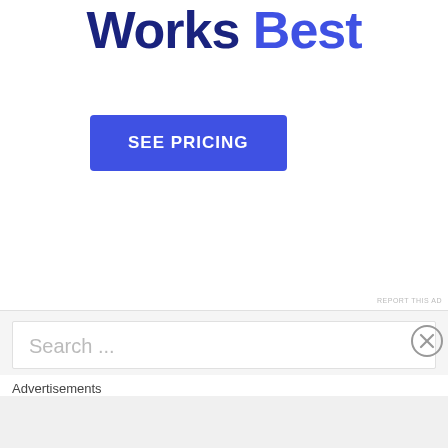Works Best
[Figure (other): SEE PRICING call-to-action button, blue background, white uppercase text]
REPORT THIS AD
Search ...
Advertisements
REPORT THIS AD